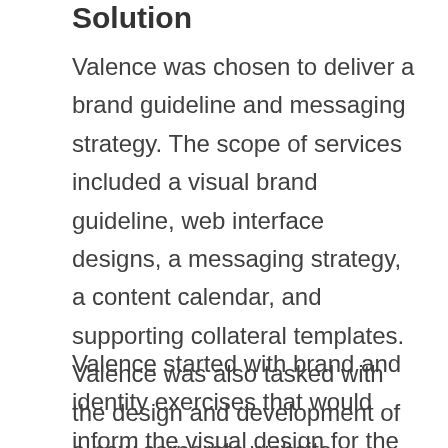Solution
Valence was chosen to deliver a brand guideline and messaging strategy. The scope of services included a visual brand guideline, web interface designs, a messaging strategy, a content calendar, and supporting collateral templates. Valence was also tasked with the design and development of a new corporate website.
Valence started with brand and identity exercises that would inform the visual design for the acquired business unit.